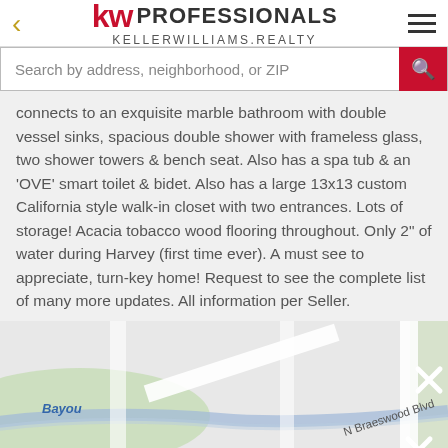kw PROFESSIONALS KELLERWILLIAMS.REALTY
Search by address, neighborhood, or ZIP
connects to an exquisite marble bathroom with double vessel sinks, spacious double shower with frameless glass, two shower towers & bench seat. Also has a spa tub & an 'OVE' smart toilet & bidet. Also has a large 13x13 custom California style walk-in closet with two entrances. Lots of storage! Acacia tobacco wood flooring throughout. Only 2" of water during Harvey (first time ever). A must see to appreciate, turn-key home! Request to see the complete list of many more updates. All information per Seller.
[Figure (map): Street map showing Bayou, N Braeswood Blvd, Keamer St, and surrounding area]